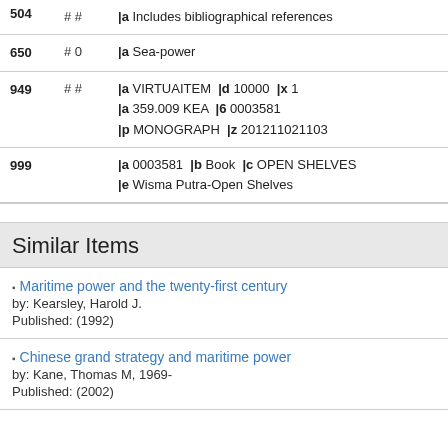| Tag | Ind | Data |
| --- | --- | --- |
| 504 | # # | |a Includes bibliographical references |
| 650 | # 0 | |a Sea-power |
| 949 | # # | |a VIRTUAITEM |d 10000 |x 1 |a 359.009 KEA |6 0003581 |p MONOGRAPH |z 201211021103 |
| 999 |  | |a 0003581 |b Book |c OPEN SHELVES |e Wisma Putra-Open Shelves |
Similar Items
Maritime power and the twenty-first century
by: Kearsley, Harold J.
Published: (1992)
Chinese grand strategy and maritime power
by: Kane, Thomas M, 1969-
Published: (2002)